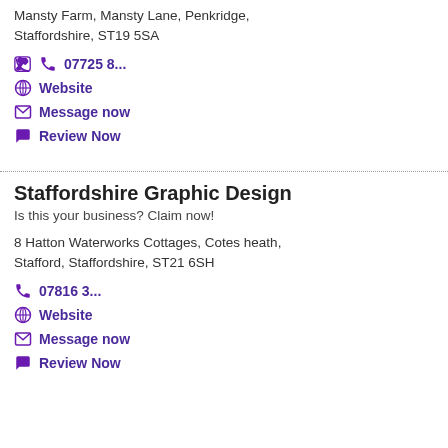Mansty Farm, Mansty Lane, Penkridge, Staffordshire, ST19 5SA
07725 8...
Website
Message now
Review Now
Staffordshire Graphic Design
Is this your business? Claim now!
8 Hatton Waterworks Cottages, Cotes heath, Stafford, Staffordshire, ST21 6SH
07816 3...
Website
Message now
Review Now